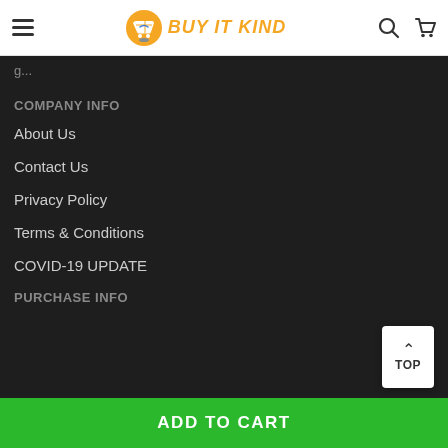BUY IT KIND
COMPANY INFO
About Us
Contact Us
Privacy Policy
Terms & Conditions
COVID-19 UPDATE
PURCHASE INFO
ADD TO CART